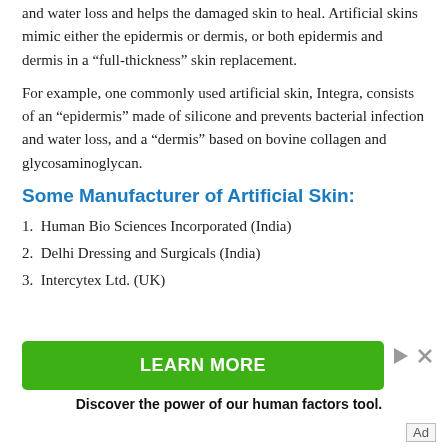and water loss and helps the damaged skin to heal. Artificial skins mimic either the epidermis or dermis, or both epidermis and dermis in a “full-thickness” skin replacement.
For example, one commonly used artificial skin, Integra, consists of an “epidermis” made of silicone and prevents bacterial infection and water loss, and a “dermis” based on bovine collagen and glycosaminoglycan.
Some Manufacturer of Artificial Skin:
1. Human Bio Sciences Incorporated (India)
2. Delhi Dressing and Surgicals (India)
3. Intercytex Ltd. (UK)
[Figure (other): Advertisement banner with green LEARN MORE button and text: Discover the power of our human factors tool.]